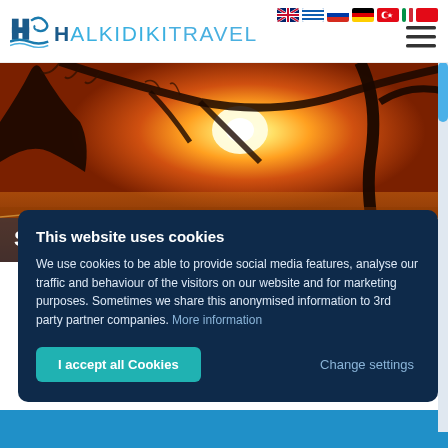Halkidiki Travel — navigation header with language flags and hamburger menu
[Figure (screenshot): Hero banner photograph of a sunset over water through silhouetted tree branches in Siviri Halkidiki, with warm orange and golden tones]
Siviri Halkidiki
This website uses cookies
We use cookies to be able to provide social media features, analyse our traffic and behaviour of the visitors on our website and for marketing purposes. Sometimes we share this anonymised information to 3rd party partner companies. More information
I accept all Cookies
Change settings